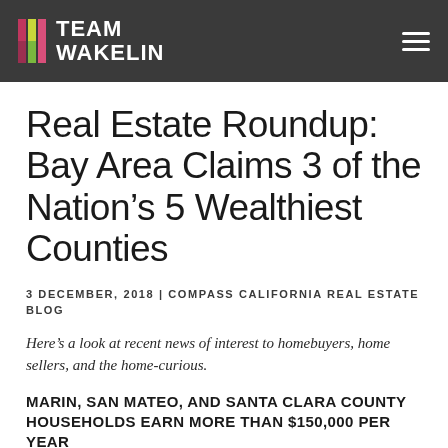TEAM WAKELIN
Real Estate Roundup: Bay Area Claims 3 of the Nation’s 5 Wealthiest Counties
3 DECEMBER, 2018 | COMPASS CALIFORNIA REAL ESTATE BLOG
Here’s a look at recent news of interest to homebuyers, home sellers, and the home-curious.
MARIN, SAN MATEO, AND SANTA CLARA COUNTY HOUSEHOLDS EARN MORE THAN $150,000 PER YEAR